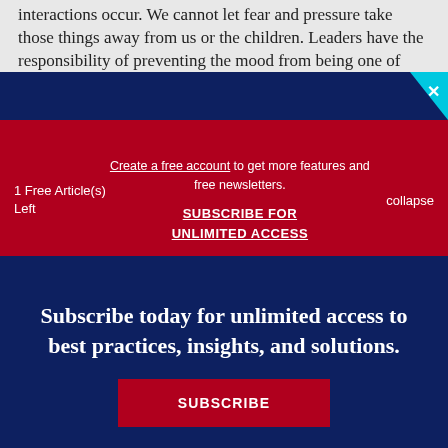interactions occur. We cannot let fear and pressure take those things away from us or the children. Leaders have the responsibility of preventing the mood from being one of
1 Free Article(s) Left
Create a free account to get more features and free newsletters.
SUBSCRIBE FOR UNLIMITED ACCESS
collapse
Subscribe today for unlimited access to best practices, insights, and solutions.
SUBSCRIBE